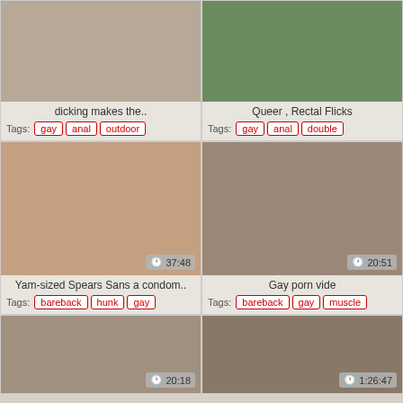[Figure (photo): Close-up explicit adult content thumbnail]
dicking makes the..
Tags: gay  anal  outdoor
[Figure (photo): Outdoor explicit adult content thumbnail]
Queer , Rectal Flicks
Tags: gay  anal  double
[Figure (photo): Explicit adult content thumbnail, duration 37:48]
Yam-sized Spears Sans a condom..
Tags: bareback  hunk  gay
[Figure (photo): Explicit adult content thumbnail, duration 20:51]
Gay porn vide
Tags: bareback  gay  muscle
[Figure (photo): Explicit adult content thumbnail, duration 20:18]
[Figure (photo): Explicit adult content thumbnail, duration 1:26:47]